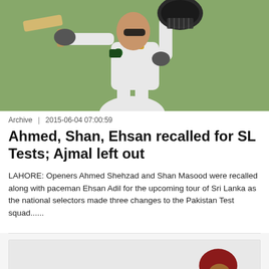[Figure (photo): Cricket player in white uniform raising bat and helmet in celebration on a green field]
Archive  |  2015-06-04 07:00:59
Ahmed, Shan, Ehsan recalled for SL Tests; Ajmal left out
LAHORE: Openers Ahmed Shehzad and Shan Masood were recalled along with paceman Ehsan Adil for the upcoming tour of Sri Lanka as the national selectors made three changes to the Pakistan Test squad......
[Figure (photo): Cricket batsman in dark maroon helmet playing a shot, partially cropped]